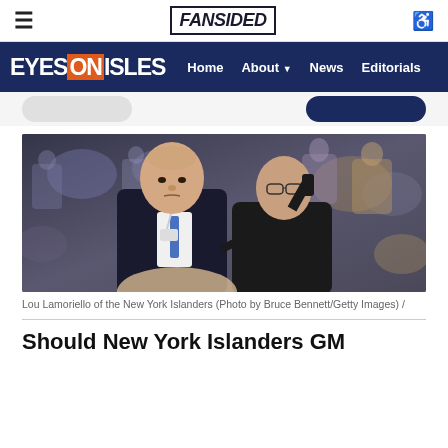≡  FANSIDED  ♿
EYES ON ISLES  Home  About ▼  News  Editorials
[Figure (photo): Lou Lamoriello of the New York Islanders standing at an NHL Draft event, wearing a dark suit with a blue tie and credential lanyard, alongside another man talking on a phone, with a crowd in the background.]
Lou Lamoriello of the New York Islanders (Photo by Bruce Bennett/Getty Images) /
Should New York Islanders GM